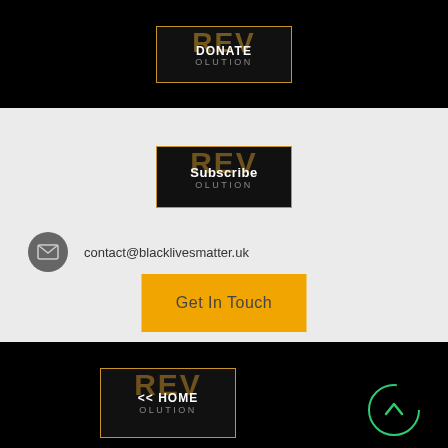[Figure (logo): REVolution DONATE button — black background with orange border, orange 'REV' watermark text, white 'DONATE' text, grey 'OLUTION' subtext]
[Figure (logo): REVolution Subscribe button — black background with orange border, orange 'REV' watermark text, white 'Subscribe' text, grey 'OLUTION' subtext]
contact@blacklivesmatter.uk
[Figure (other): Yellow 'Get In Touch' button]
[Figure (logo): REVolution << HOME button — black background with orange border, orange 'REV' watermark text, white '<< HOME' text, grey 'OLUTION' subtext]
[Figure (other): Green circular scroll-to-top arrow button]